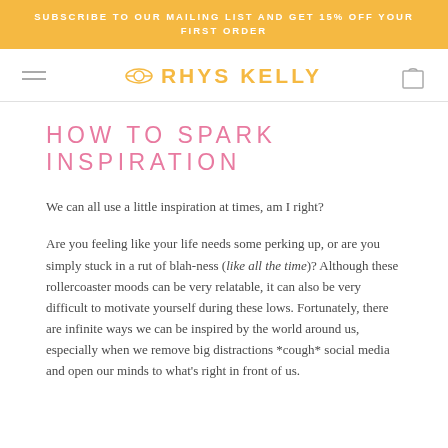SUBSCRIBE TO OUR MAILING LIST AND GET 15% OFF YOUR FIRST ORDER
RHYS KELLY
HOW TO SPARK INSPIRATION
We can all use a little inspiration at times, am I right?
Are you feeling like your life needs some perking up, or are you simply stuck in a rut of blah-ness (like all the time)? Although these rollercoaster moods can be very relatable, it can also be very difficult to motivate yourself during these lows. Fortunately, there are infinite ways we can be inspired by the world around us, especially when we remove big distractions *cough* social media and open our minds to what's right in front of us.